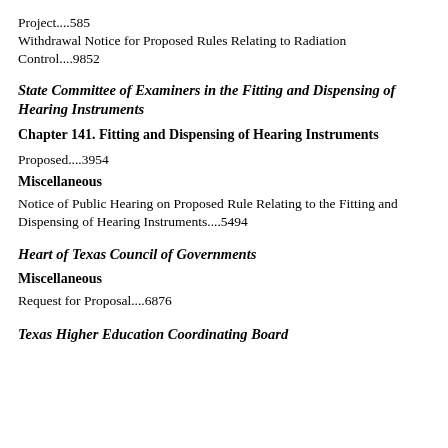Project....585
Withdrawal Notice for Proposed Rules Relating to Radiation Control....9852
State Committee of Examiners in the Fitting and Dispensing of Hearing Instruments
Chapter 141. Fitting and Dispensing of Hearing Instruments
Proposed....3954
Miscellaneous
Notice of Public Hearing on Proposed Rule Relating to the Fitting and Dispensing of Hearing Instruments....5494
Heart of Texas Council of Governments
Miscellaneous
Request for Proposal....6876
Texas Higher Education Coordinating Board